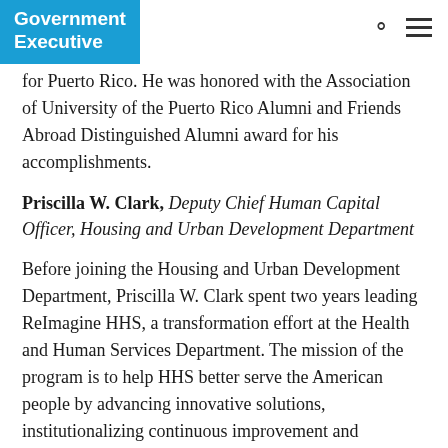Government Executive
for Puerto Rico. He was honored with the Association of University of the Puerto Rico Alumni and Friends Abroad Distinguished Alumni award for his accomplishments.
Priscilla W. Clark, Deputy Chief Human Capital Officer, Housing and Urban Development Department
Before joining the Housing and Urban Development Department, Priscilla W. Clark spent two years leading ReImagine HHS, a transformation effort at the Health and Human Services Department. The mission of the program is to help HHS better serve the American people by advancing innovative solutions, institutionalizing continuous improvement and enhancing strategic collaborations with internal and external partners.